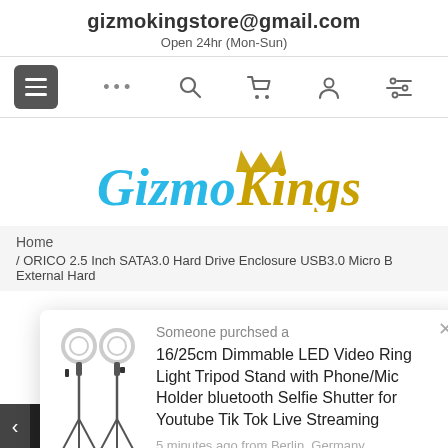gizmokingstore@gmail.com
Open 24hr (Mon-Sun)
[Figure (screenshot): Navigation bar with hamburger menu, dots, search, cart, user, and settings icons]
[Figure (logo): GizmoKings logo with blue italic 'Gizmo' and golden italic 'Kings' text with crown graphic]
Home
/ ORICO 2.5 Inch SATA3.0 Hard Drive Enclosure USB3.0 Micro B External Hard
[Figure (infographic): Popup notification showing someone purchased a 16/25cm Dimmable LED Video Ring Light Tripod Stand with Phone/Mic Holder bluetooth Selfie Shutter for Youtube Tik Tok Live Streaming, 5 minutes ago from Berlin, Germany]
CART